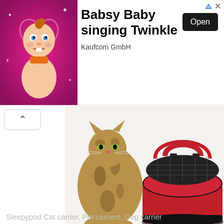[Figure (screenshot): Advertisement banner: Babsy Baby singing Twinkle app ad with animated baby character on pink background, Open button, Kaufcom GmbH label, close and ad-info icons]
[Figure (photo): A Bengal cat sitting next to a red Sleepypod pet carrier with black mesh top, partially visible]
Sleepypod Cat carrier, Pet carriers, Dog carrier
[Figure (photo): A small dog (Yorkshire Terrier) with a pink bow, looking up from a car seat]